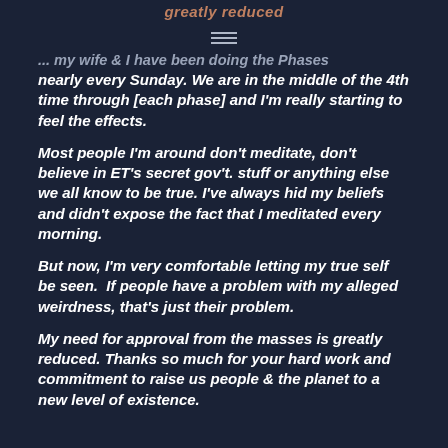greatly reduced
... my wife & I have been doing the Phases nearly every Sunday. We are in the middle of the 4th time through [each phase] and I'm really starting to feel the effects.
Most people I'm around don't meditate, don't believe in ET's secret gov't. stuff or anything else we all know to be true. I've always hid my beliefs and didn't expose the fact that I meditated every morning.
But now, I'm very comfortable letting my true self be seen.  If people have a problem with my alleged weirdness, that's just their problem.
My need for approval from the masses is greatly reduced. Thanks so much for your hard work and commitment to raise us people & the planet to a new level of existence.